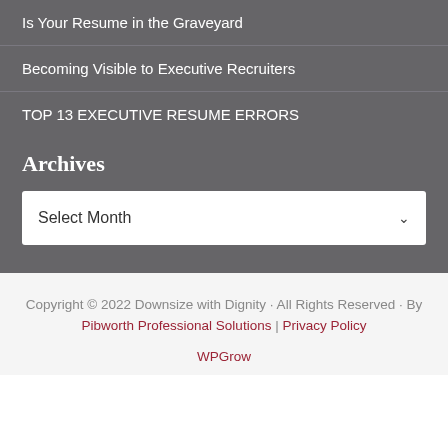Is Your Resume in the Graveyard
Becoming Visible to Executive Recruiters
TOP 13 EXECUTIVE RESUME ERRORS
Archives
Select Month
Copyright © 2022 Downsize with Dignity · All Rights Reserved · By Pibworth Professional Solutions | Privacy Policy
WPGrow